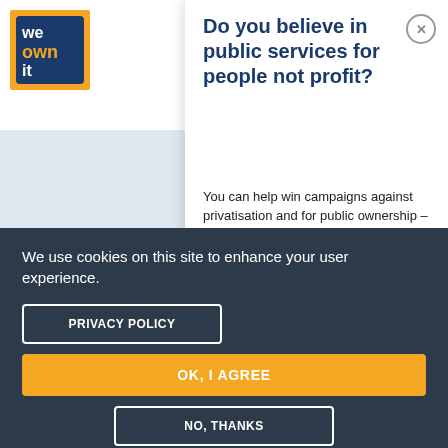[Figure (logo): We Own It logo — orange and dark blue square logo with 'we own it' text]
Do you believe in public services for people not profit?
You can help win campaigns against privatisation and for public ownership – join us now!
First Name
Last Name
We use cookies on this site to enhance your user experience.
PRIVACY POLICY
OK, I AGREE
NO, THANKS